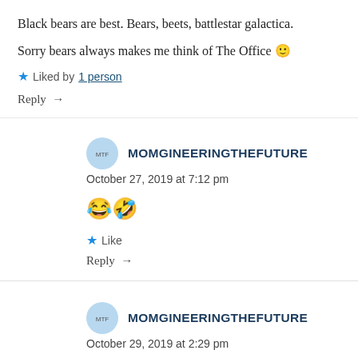Black bears are best. Bears, beets, battlestar galactica.
Sorry bears always makes me think of The Office 🙂
★ Liked by 1 person
Reply →
MOMGINEERINGTHEFUTURE
October 27, 2019 at 7:12 pm
😂🤣
★ Like
Reply →
MOMGINEERINGTHEFUTURE
October 29, 2019 at 2:29 pm